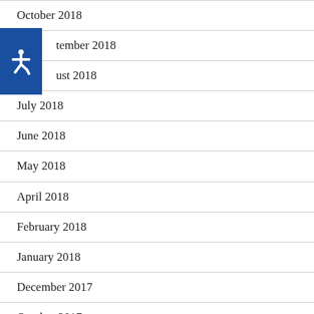October 2018
September 2018
August 2018
July 2018
June 2018
May 2018
April 2018
February 2018
January 2018
December 2017
October 2017
September 2017
August 2017
July 2017